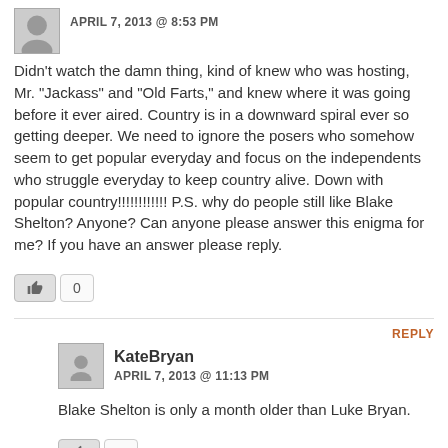APRIL 7, 2013 @ 8:53 PM
Didn't watch the damn thing, kind of knew who was hosting, Mr. "Jackass" and "Old Farts," and knew where it was going before it ever aired. Country is in a downward spiral ever so getting deeper. We need to ignore the posers who somehow seem to get popular everyday and focus on the independents who struggle everyday to keep country alive. Down with popular country!!!!!!!!!!!! P.S. why do people still like Blake Shelton? Anyone? Can anyone please answer this enigma for me? If you have an answer please reply.
KateBryan
APRIL 7, 2013 @ 11:13 PM
Blake Shelton is only a month older than Luke Bryan.
Joe
APRIL 7, 2013 @ 9:08 PM
i didnt watch two seconds of that garbage